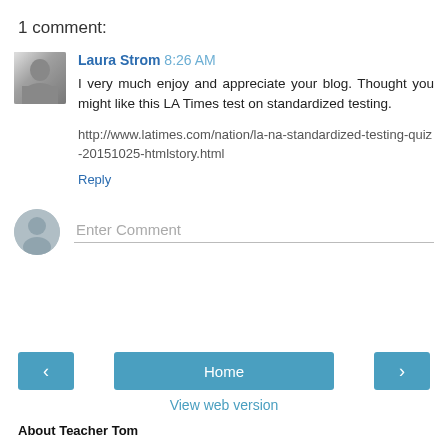1 comment:
Laura Strom 8:26 AM
I very much enjoy and appreciate your blog. Thought you might like this LA Times test on standardized testing.

http://www.latimes.com/nation/la-na-standardized-testing-quiz-20151025-htmlstory.html
Reply
Enter Comment
Home
View web version
About Teacher Tom